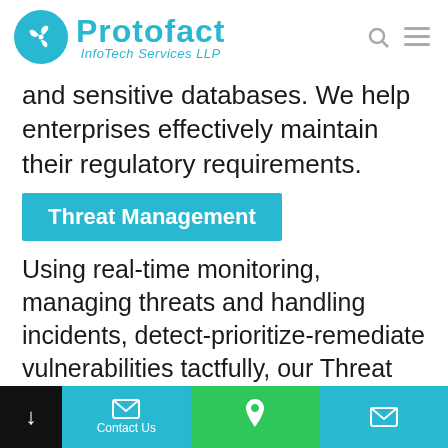[Figure (logo): Protofact InfoTech Services LLP logo — cyan circle with windmill/fan icon, bold cyan PROTOFACT text, italic InfoTech Services LLP subtitle]
and sensitive databases. We help enterprises effectively maintain their regulatory requirements.
Threat Management
Using real-time monitoring, managing threats and handling incidents, detect-prioritize-remediate vulnerabilities tactfully, our Threat and Vulnerability
Contact Us | phone icon | email icon